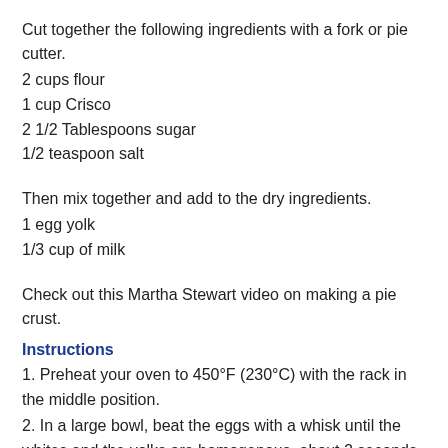Cut together the following ingredients with a fork or pie cutter.
2 cups flour
1 cup Crisco
2 1/2 Tablespoons sugar
1/2 teaspoon salt
Then mix together and add to the dry ingredients.
1 egg yolk
1/3 cup of milk
Check out this Martha Stewart video on making a pie crust.
Instructions
1. Preheat your oven to 450°F (230°C) with the rack in the middle position.
2. In a large bowl, beat the eggs with a whisk until the whites and the yolks are homogenous, about 2 seconds. Add the remaining filling ingredients to the bowl and whisk well to combine. Make sure the eggs and cream are completely incorporated. Line a